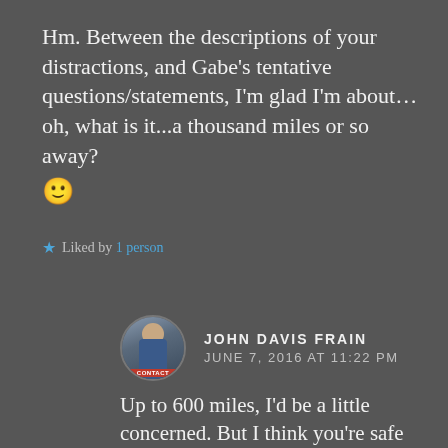Hm. Between the descriptions of your distractions, and Gabe's tentative questions/statements, I'm glad I'm about… oh, what is it...a thousand miles or so away? 🙂
★ Liked by 1 person
JOHN DAVIS FRAIN
JUNE 7, 2016 AT 11:22 PM
Up to 600 miles, I'd be a little concerned. But I think you're safe where you are. Then again, I tend to miss my exit on the